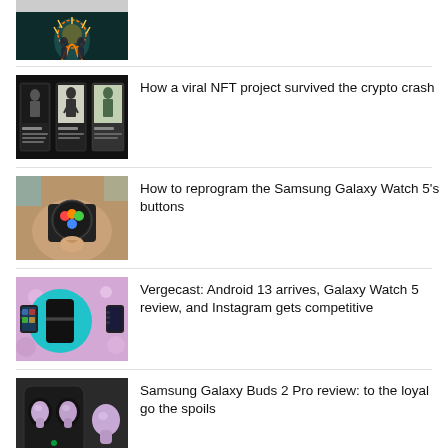[Figure (photo): Article thumbnail - dark artistic image with orange glowing tree-like figure]
[Figure (photo): Article thumbnail - NFT comic-style illustrated cards on dark background]
How a viral NFT project survived the crypto crash
[Figure (photo): Article thumbnail - hand wearing Samsung Galaxy Watch 5]
How to reprogram the Samsung Galaxy Watch 5's buttons
[Figure (photo): Article thumbnail - colorful abstract illustration with folding phone]
Vergecast: Android 13 arrives, Galaxy Watch 5 review, and Instagram gets competitive
[Figure (photo): Article thumbnail - Samsung Galaxy Buds 2 Pro lavender earbuds on dark surface]
Samsung Galaxy Buds 2 Pro review: to the loyal go the spoils